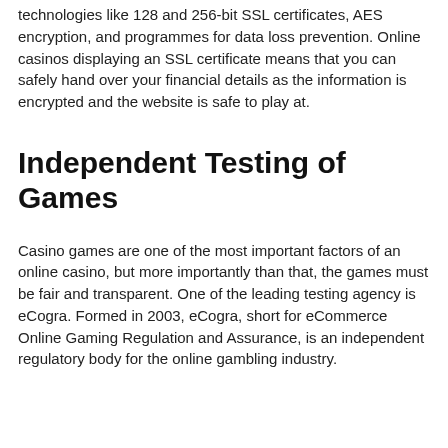technologies like 128 and 256-bit SSL certificates, AES encryption, and programmes for data loss prevention. Online casinos displaying an SSL certificate means that you can safely hand over your financial details as the information is encrypted and the website is safe to play at.
Independent Testing of Games
Casino games are one of the most important factors of an online casino, but more importantly than that, the games must be fair and transparent. One of the leading testing agency is eCogra. Formed in 2003, eCogra, short for eCommerce Online Gaming Regulation and Assurance, is an independent regulatory body for the online gambling industry.